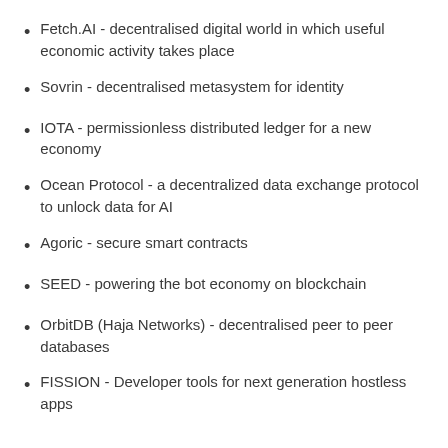Fetch.AI - decentralised digital world in which useful economic activity takes place
Sovrin - decentralised metasystem for identity
IOTA - permissionless distributed ledger for a new economy
Ocean Protocol - a decentralized data exchange protocol to unlock data for AI
Agoric - secure smart contracts
SEED - powering the bot economy on blockchain
OrbitDB (Haja Networks) - decentralised peer to peer databases
FISSION - Developer tools for next generation hostless apps